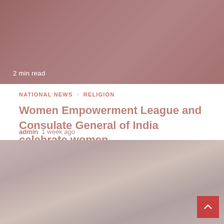[Figure (photo): Top hero image showing an audience or crowd scene with reddish-brown overlay tones]
2 min read
NATIONAL NEWS · RELIGION
Women Empowerment League and Consulate General of India celebrate women
admin  1 week ago
[Figure (photo): Bottom photo showing a person speaking at a microphone at a podium or lecturn, with other people visible in the background]